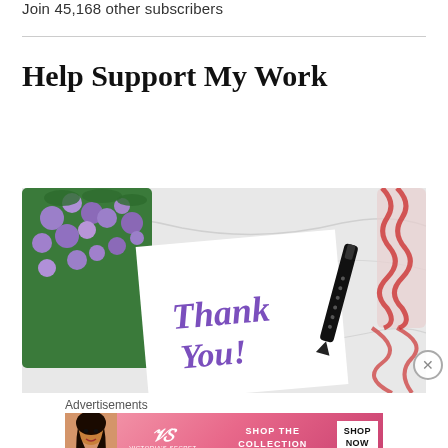Join 45,168 other subscribers
Help Support My Work
[Figure (photo): A flat-lay photo showing a handwritten 'Thank You' card in purple marker, purple flowers, a black marker pen, and red-and-white twine on a white marble background.]
Advertisements
[Figure (screenshot): Victoria's Secret advertisement banner showing a model, the VS logo, text 'SHOP THE COLLECTION', and a white 'SHOP NOW' button on a pink/red gradient background.]